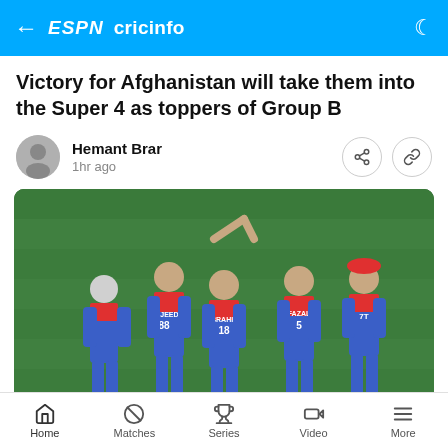ESPN cricinfo
Victory for Afghanistan will take them into the Super 4 as toppers of Group B
Hemant Brar
1hr ago
[Figure (photo): Afghanistan cricket team players in blue and red jerseys celebrating on a cricket field. Visible jersey names and numbers: MUJEED 88, IBRAHIM 18, FAZAL 5. Players are gathered in a huddle, some raising hands.]
Home | Matches | Series | Video | More